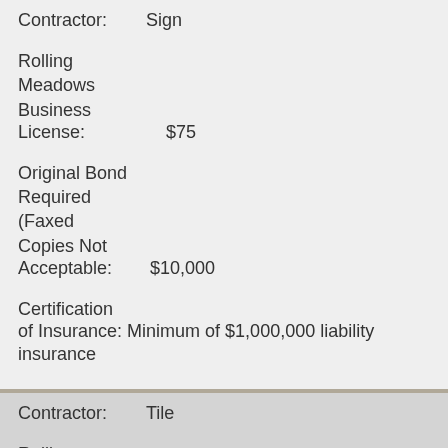| Field | Value |
| --- | --- |
| Contractor: | Sign |
| Rolling Meadows Business License: | $75 |
| Original Bond Required (Faxed Copies Not Acceptable): | $10,000 |
| Certification of Insurance: | Minimum of $1,000,000 liability insurance |
| Contractor: | Tile |
| Rolling Meadows Business License: | $75 |